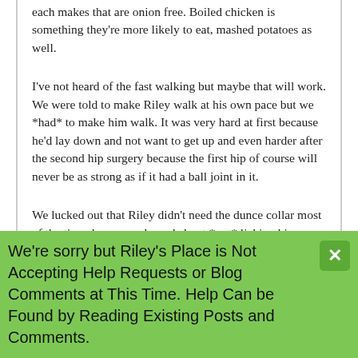each makes that are onion free. Boiled chicken is something they're more likely to eat, mashed potatoes as well.
I've not heard of the fast walking but maybe that will work. We were told to make Riley walk at his own pace but we *had* to make him walk. It was very hard at first because he'd lay down and not want to get up and even harder after the second hip surgery because the first hip of course will never be as strong as if it had a ball joint in it.
We lucked out that Riley didn't need the dunce collar most of the time, he was real good about *not* licking his stitches so when we were home to supervise, he didn't have to wear it. I put it on when we were not here to keep an eye on him. When he had his second surgery my darling granddaughter came for a week to stay with him
We're sorry but Riley's Place is Not Accepting Help Requests or Blog Comments at This Time. Help Can be Found by Reading Existing Posts and Comments.